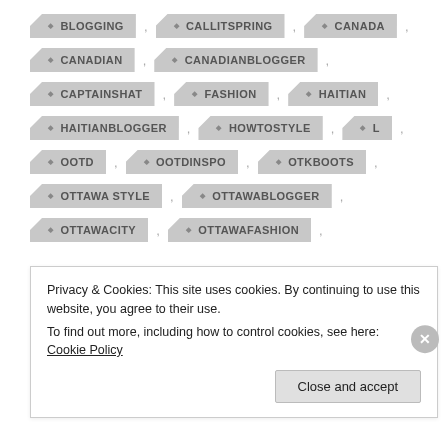BLOGGING, CALLITSPRING, CANADA,
CANADIAN, CANADIANBLOGGER,
CAPTAINSHAT, FASHION, HAITIAN,
HAITIANBLOGGER, HOWTOSTYLE, L,
OOTD, OOTDINSPO, OTKBOOTS,
OTTAWA STYLE, OTTAWABLOGGER,
OTTAWACITY, OTTAWAFASHION,
Privacy & Cookies: This site uses cookies. By continuing to use this website, you agree to their use. To find out more, including how to control cookies, see here: Cookie Policy
Close and accept